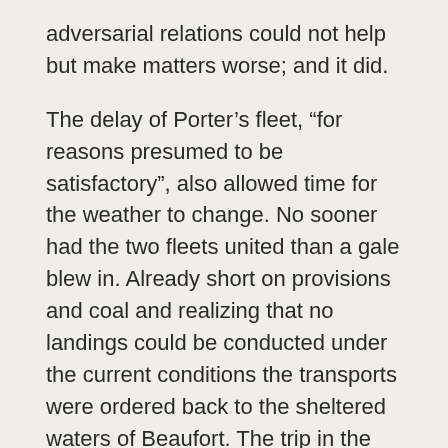adversarial relations could not help but make matters worse; and it did.
The delay of Porter’s fleet, “for reasons presumed to be satisfactory”, also allowed time for the weather to change. No sooner had the two fleets united than a gale blew in. Already short on provisions and coal and realizing that no landings could be conducted under the current conditions the transports were ordered back to the sheltered waters of Beaufort. The trip in the choppy seas made many of the soldiers seasick but even the most violently ill fared better than the horses on board. When some of the animals reacted poorly to the unsteady ride they were simply shot and thrown overboard. On arrival Butler restricted the men and crews to the boats during resupply and refueling to prevent any word of their plan from leaking out.